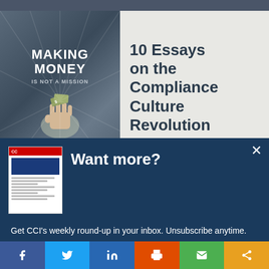[Figure (photo): Book cover image showing 'Making Money is Not a Mission' with a fist holding money, alongside text '10 Essays on the Compliance Culture Revolution by Michael...']
[Figure (screenshot): Popup overlay with thumbnail newsletter image, 'Want more?' heading, text about CCI weekly round-up, and 'Let's do this!' button, plus social share bar at bottom]
Want more?
Get CCI's weekly round-up in your inbox. Unsubscribe anytime.
Let's do this!